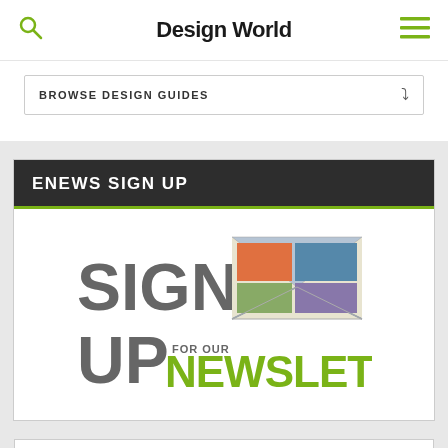Design World
BROWSE DESIGN GUIDES
ENEWS SIGN UP
[Figure (illustration): Sign up for our Newsletter graphic with large grey SIGN UP text, an envelope image, and green NEWSLETTER text]